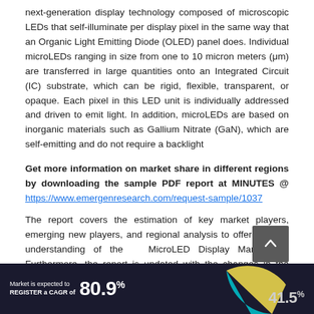next-generation display technology composed of microscopic LEDs that self-illuminate per display pixel in the same way that an Organic Light Emitting Diode (OLED) panel does. Individual microLEDs ranging in size from one to 10 micron meters (μm) are transferred in large quantities onto an Integrated Circuit (IC) substrate, which can be rigid, flexible, transparent, or opaque. Each pixel in this LED unit is individually addressed and driven to emit light. In addition, microLEDs are based on inorganic materials such as Gallium Nitrate (GaN), which are self-emitting and do not require a backlight
Get more information on market share in different regions by downloading the sample PDF report at MINUTES @ https://www.emergenresearch.com/request-sample/1037
The report covers the estimation of key market players, emerging new players, and regional analysis to offer a better understanding of the MicroLED Display Market . Furthermore, the report is updated with the changes in the market dynamics and economic scenario due to the COVID-19 pandemic. The report assesses the impact of the pandemic on the overall market and provides a detailed assessment of the present and future impact of the COVID-19 pandemic on the industry.
[Figure (infographic): Dark banner showing market CAGR of 80.9% and a partial pie/donut chart with 41.5% label visible]